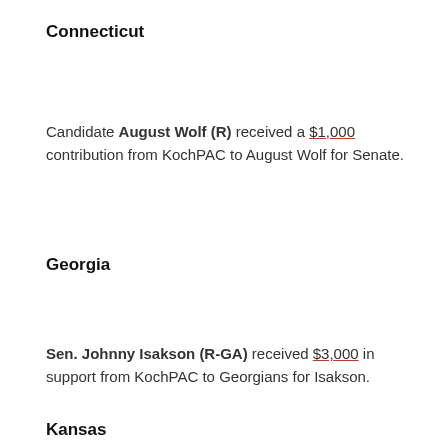Connecticut
Candidate August Wolf (R) received a $1,000 contribution from KochPAC to August Wolf for Senate.
Georgia
Sen. Johnny Isakson (R-GA) received $3,000 in support from KochPAC to Georgians for Isakson.
Kansas